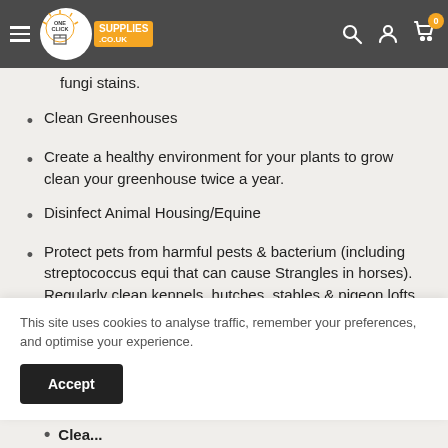One Click Supplies .co.uk — navigation bar with hamburger menu, logo, search, account, cart icons
fungi stains.
Clean Greenhouses
Create a healthy environment for your plants to grow clean your greenhouse twice a year.
Disinfect Animal Housing/Equine
Protect pets from harmful pests & bacterium (including streptococcus equi that can cause Strangles in horses). Regularly clean kennels, hutches, stables & pigeon lofts
This site uses cookies to analyse traffic, remember your preferences, and optimise your experience.
Accept